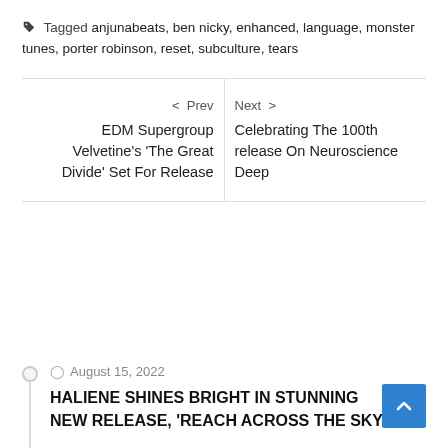Tagged anjunabeats, ben nicky, enhanced, language, monster tunes, porter robinson, reset, subculture, tears
< Prev
EDM Supergroup Velvetine's 'The Great Divide' Set For Release
Next >
Celebrating The 100th release On Neuroscience Deep
August 15, 2022
HALIENE SHINES BRIGHT IN STUNNING NEW RELEASE, 'REACH ACROSS THE SKY'